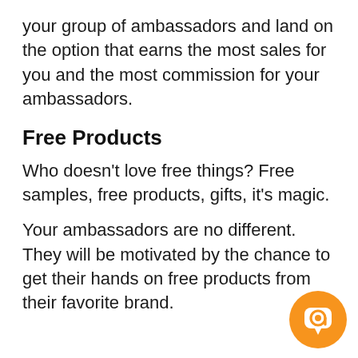your group of ambassadors and land on the option that earns the most sales for you and the most commission for your ambassadors.
Free Products
Who doesn't love free things? Free samples, free products, gifts, it's magic.
Your ambassadors are no different. They will be motivated by the chance to get their hands on free products from their favorite brand.
[Figure (illustration): Orange circular chat button with a message/quote icon in the bottom-right corner of the page]